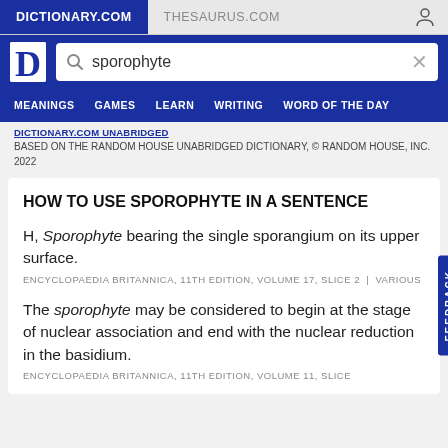DICTIONARY.COM | THESAURUS.COM
sporophyte
MEANINGS | GAMES | LEARN | WRITING | WORD OF THE DAY
DICTIONARY.COM UNABRIDGED
BASED ON THE RANDOM HOUSE UNABRIDGED DICTIONARY, © RANDOM HOUSE, INC. 2022
HOW TO USE SPOROPHYTE IN A SENTENCE
H, Sporophyte bearing the single sporangium on its upper surface.
ENCYCLOPAEDIA BRITANNICA, 11TH EDITION, VOLUME 17, SLICE 2 | VARIOUS
The sporophyte may be considered to begin at the stage of nuclear association and end with the nuclear reduction in the basidium.
ENCYCLOPAEDIA BRITANNICA, 11TH EDITION, VOLUME 11, SLICE